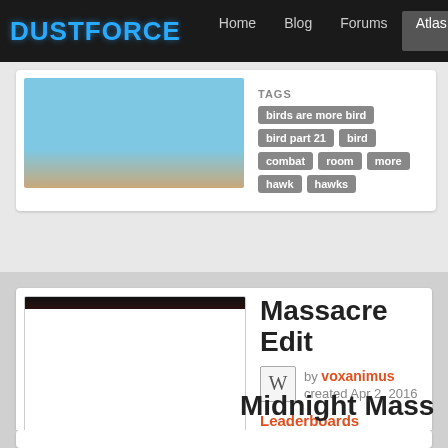DUSTFORCE | Home | Blog | Forums | Atlas | Hitbox Team
TAGS: birds are more bird | bird part 21 | bird | combat | room | more | hawk | hawks
Massacre Edit
by voxanimus
created Apr 2, 2016
Leaderboards
3 comments
TAGS
edit | combat | easy
Midnight Mass